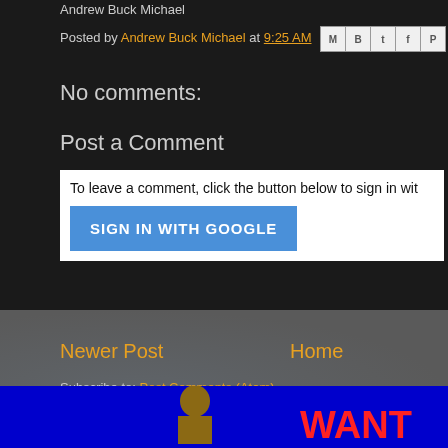Andrew Buck Michael
Posted by Andrew Buck Michael at 9:25 AM
No comments:
Post a Comment
To leave a comment, click the button below to sign in wit
SIGN IN WITH GOOGLE
Newer Post
Home
Subscribe to: Post Comments (Atom)
Back to the main page
[Figure (photo): Blue background image with a person and WANT text in red]